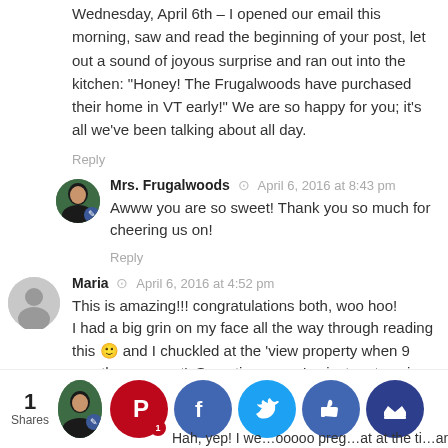Wednesday, April 6th – I opened our email this morning, saw and read the beginning of your post, let out a sound of joyous surprise and ran out into the kitchen: "Honey! The Frugalwoods have purchased their home in VT early!" We are so happy for you; it's all we've been talking about all day.
Reply
Mrs. Frugalwoods  April 6, 2016 at 8:43 pm
Awww you are so sweet! Thank you so much for cheering us on!
Reply
Maria  April 6, 2016 at 4:52 pm
This is amazing!!! congratulations both, woo hoo!
I had a big grin on my face all the way through reading this 🙂 and I chuckled at the 'view property when 9 months pregnant'. Sometimes, you've just go to seize the opportunity, as you two have done. Well done and congratulations again!
Reply
Mrs. Frugalwoods  April 6  8:44
Hah, yep! I we…ooooo preg…at at the ti…and so gla…